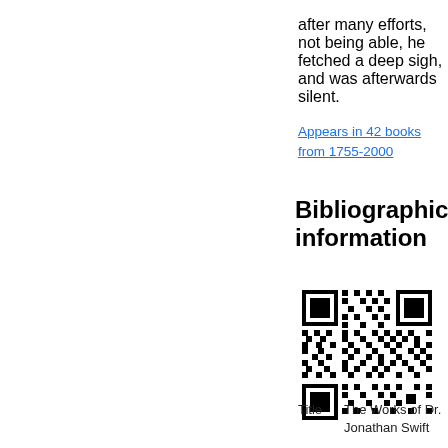after many efforts, not being able, he fetched a deep sigh, and was afterwards silent. Appears in 42 books from 1755-2000
Bibliographic information
[Figure (other): QR code for bibliographic information]
| Title | The Works of Dr. Jonathan Swift ... |
|  | Volume 1 of ... |